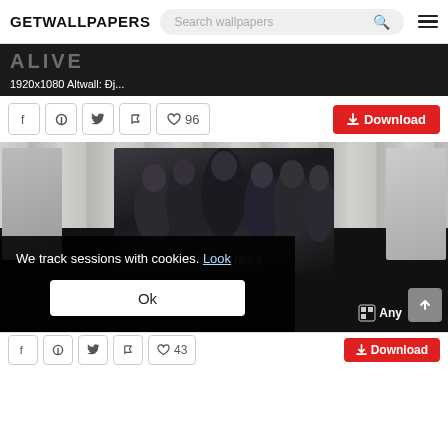GETWALLPAPERS — Search wallpapers
[Figure (screenshot): Top cropped wallpaper image strip showing faint ALIVE text on dark background with caption '1920x1080 Altwall: Đj...']
1920x1080 Altwall: Đj...
[Figure (screenshot): Social sharing buttons: Facebook, Pinterest, Twitter, Flag, Heart 96 likes, and red Download button]
♡ 96
↓ Download
[Figure (photo): Wallpaper preview showing a band group photo (metal band Motionless in White) against wooden plank background, with cookie consent overlay]
We track sessions with cookies. Look
Ok
♡ 43
↓ Download